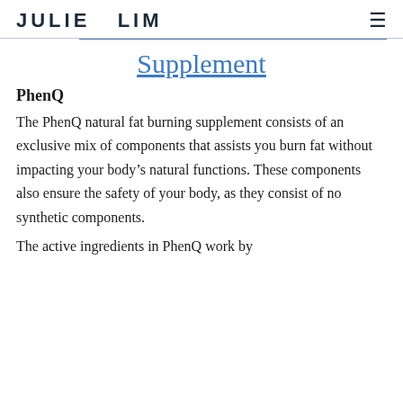JULIE  LIM
Supplement
PhenQ
The PhenQ natural fat burning supplement consists of an exclusive mix of components that assists you burn fat without impacting your body’s natural functions. These components also ensure the safety of your body, as they consist of no synthetic components.
The active ingredients in PhenQ work by